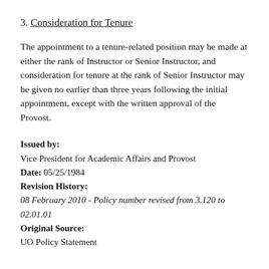3. Consideration for Tenure
The appointment to a tenure-related position may be made at either the rank of Instructor or Senior Instructor, and consideration for tenure at the rank of Senior Instructor may be given no earlier than three years following the initial appointment, except with the written approval of the Provost.
Issued by:
Vice President for Academic Affairs and Provost
Date: 05/25/1984
Revision History:
08 February 2010 - Policy number revised from 3.120 to 02.01.01
Original Source:
UO Policy Statement